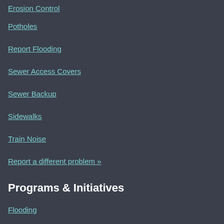Erosion Control
Potholes
Report Flooding
Sewer Access Covers
Sewer Backup
Sidewalks
Train Noise
Report a different problem »
Programs & Initiatives
Flooding
Projects
Rain Gardens
Watershed Studies
Adopt a Median